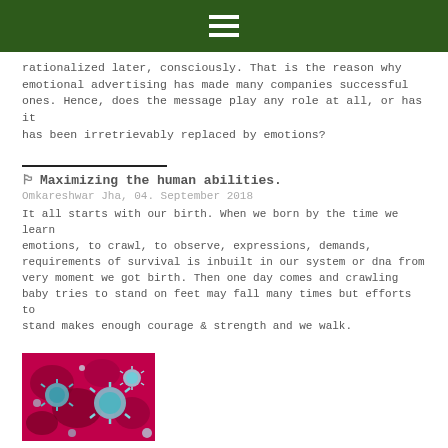rationalized later, consciously. That is the reason why emotional advertising has made many companies successful ones. Hence, does the message play any role at all, or has it has been irretrievably replaced by emotions?
Maximizing the human abilities.
Omkareshwar Jha, 04. September 2018
It all starts with our birth. When we born by the time we learn emotions, to crawl, to observe, expressions, demands, requirements of survival is inbuilt in our system or dna from very moment we got birth. Then one day comes and crawling baby tries to stand on feet may fall many times but efforts to stand makes enough courage & strength and we walk.
[Figure (photo): Red and blue microscopic image of coronavirus particles]
Coronavirus: Blessing or Curse
Mahd Sheriff, 16. December 2020